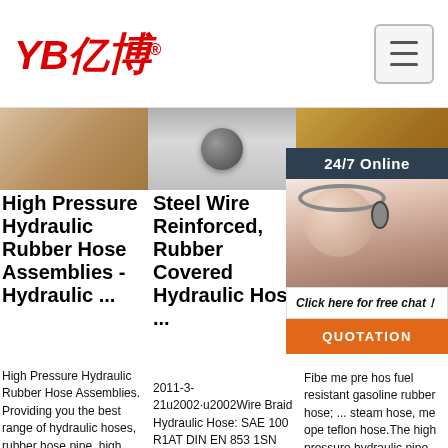YB亿博® [logo] | menu button
[Figure (photo): Three product images in a horizontal strip: left shows a rubber hose detail (tan/brown), center shows a circular hose fitting (gray), right shows a braided hose (wicker/gold texture).]
[Figure (photo): 24/7 Online chat widget showing a woman with headset, 'Click here for free chat!' text, and QUOTATION orange button.]
High Pressure Hydraulic Rubber Hose Assemblies - Hydraulic ...
High Pressure Hydraulic Rubber Hose Assemblies. Providing you the best range of hydraulic hoses, rubber hose pipe, high pressure hydraulic hose, hydraulic hose, high pressure wire braid
Steel Wire Reinforced, Rubber Covered Hydraulic Hose ...
2011-3-21u2002·u2002Wire Braid Hydraulic Hose: SAE 100 R1AT DIN EN 853 1SN STANDARD Tube: Oil resistant synthetic rubber ... High Pressure, Steel Wire
He Ma An Te Co
Fibe me pre hos fuel resistant gasoline rubber hose; ... steam hose, me ope teflon hose.The high pressure hydraulic pipe has;